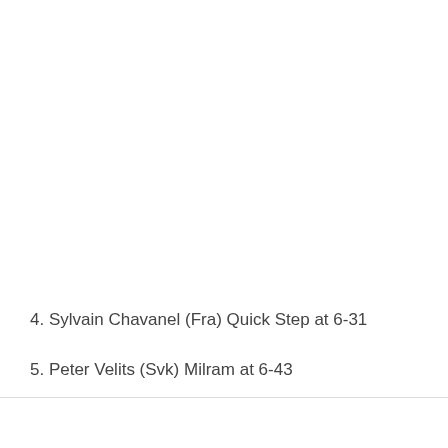4. Sylvain Chavanel (Fra) Quick Step at 6-31
5. Peter Velits (Svk) Milram at 6-43